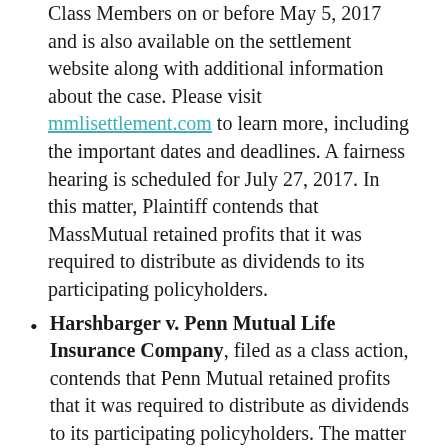Class Members on or before May 5, 2017 and is also available on the settlement website along with additional information about the case.  Please visit mmlisettlement.com to learn more, including the important dates and deadlines.  A fairness hearing is scheduled for July 27, 2017.   In this matter, Plaintiff contends that MassMutual retained profits that it was required to distribute as dividends to its participating policyholders.
Harshbarger v. Penn Mutual Life Insurance Company, filed as a class action, contends that Penn Mutual retained profits that it was required to distribute as dividends to its participating policyholders.  The matter